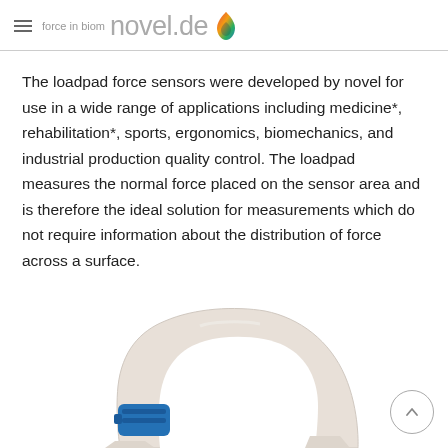force in biom novel.de
The loadpad force sensors were developed by novel for use in a wide range of applications including medicine*, rehabilitation*, sports, ergonomics, biomechanics, and industrial production quality control. The loadpad measures the normal force placed on the sensor area and is therefore the ideal solution for measurements which do not require information about the distribution of force across a surface.
[Figure (photo): A white curved loadpad force sensor with a blue connector/module attached at the base, shown against a white background.]